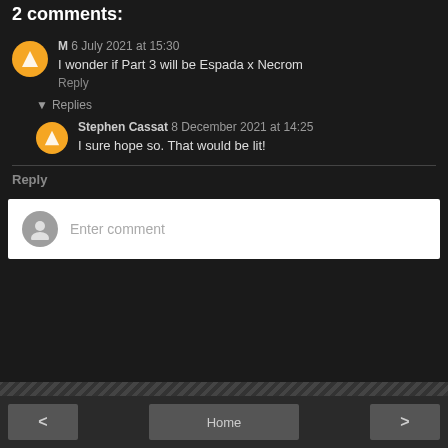2 comments:
M 6 July 2021 at 15:30
I wonder if Part 3 will be Espada x Necrom
Reply
▼ Replies
Stephen Cassat 8 December 2021 at 14:25
I sure hope so. That would be lit!
Reply
Enter comment
< Home >